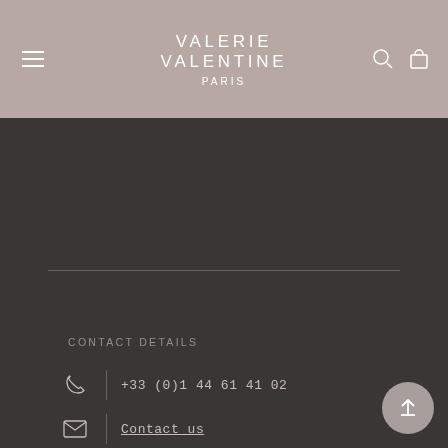VALERIE VALENTINE PARIS
CONTACT DETAILS
+33 (0)1 44 61 41 02
Contact us
Valerie Valentine boutique
2 rue du Pas de la Mule
75003 Paris France